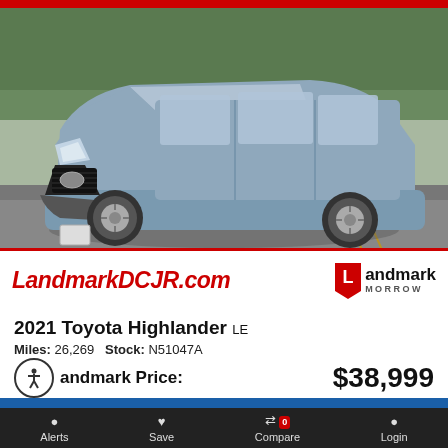[Figure (photo): Silver/blue 2021 Toyota Highlander SUV parked in a car dealership lot, front three-quarter view, trees in background]
LandmarkDCJR.com
[Figure (logo): Landmark Morrow dealership logo with red diamond/arrow shape]
2021 Toyota Highlander LE
Miles: 26,269   Stock: N51047A
Landmark Price:   $38,999
Landmark Chrysler Dodge Jeep Ram of Morrow
Alerts   Save   Compare 0   Login